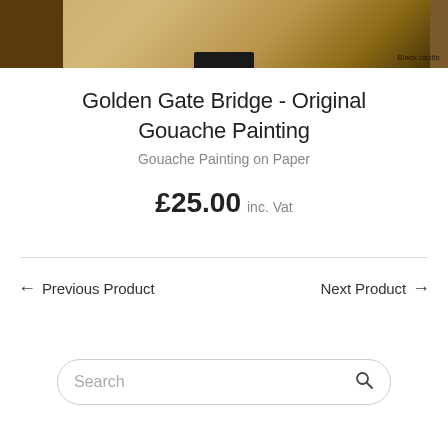[Figure (photo): Top portion of a wooden table or surface with warm brown tones, partially cropped. Small text 'Black castle' visible in lower right corner.]
Golden Gate Bridge - Original Gouache Painting
Gouache Painting on Paper
£25.00 inc. Vat
← Previous Product    Next Product →
Search